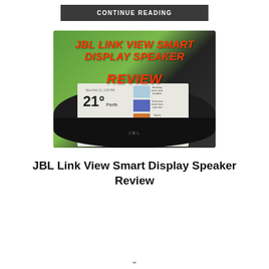CONTINUE READING
[Figure (photo): Photo of JBL Link View Smart Display Speaker with overlaid text reading 'JBL LINK VIEW SMART DISPLAY SPEAKER REVIEW' in red italic font. The speaker shows a screen displaying weather (21°) and news thumbnails. The device sits on a wooden surface with a green background.]
JBL Link View Smart Display Speaker Review